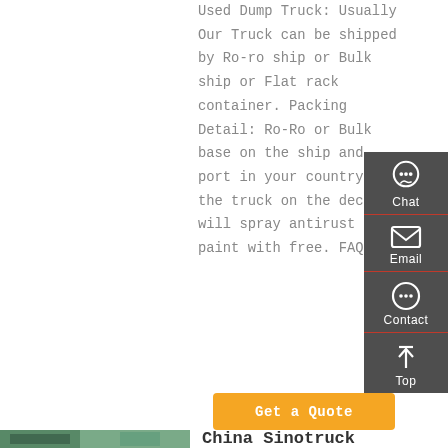Used Dump Truck: Usually Our Truck can be shipped by Ro-ro ship or Bulk ship or Flat rack container. Packing Detail: Ro-Ro or Bulk base on the ship and port in your country. the truck on the deck will spray antirust paint with free. FAQ: 1.
[Figure (other): Sidebar panel with chat, email, contact, and top navigation icons on dark grey background]
Get a Quote
[Figure (photo): Photo of a green/teal Sinotruck heavy truck cab, front-side view, outdoors]
China Sinotruck Used Trucks 10